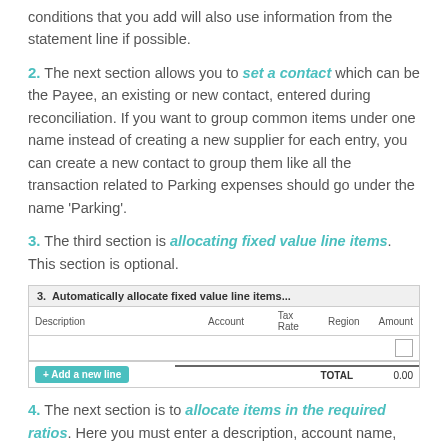conditions that you add will also use information from the statement line if possible.
2. The next section allows you to set a contact which can be the Payee, an existing or new contact, entered during reconciliation. If you want to group common items under one name instead of creating a new supplier for each entry, you can create a new contact to group them like all the transaction related to Parking expenses should go under the name ‘Parking’.
3. The third section is allocating fixed value line items. This section is optional.
[Figure (screenshot): Screenshot of Xero bank reconciliation rule section 3: Automatically allocate fixed value line items, showing a table with columns Description, Account, Tax Rate, Region, Amount, an Add a new line button, and a TOTAL of 0.00]
4. The next section is to allocate items in the required ratios. Here you must enter a description, account name,